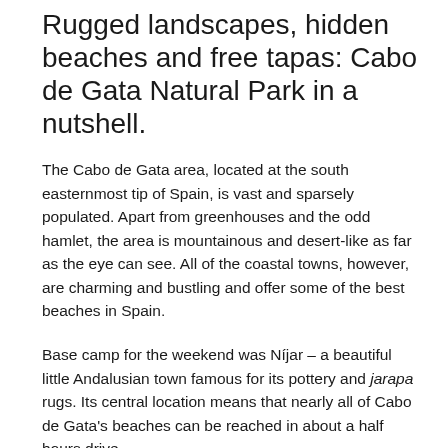Rugged landscapes, hidden beaches and free tapas: Cabo de Gata Natural Park in a nutshell.
The Cabo de Gata area, located at the south easternmost tip of Spain, is vast and sparsely populated. Apart from greenhouses and the odd hamlet, the area is mountainous and desert-like as far as the eye can see. All of the coastal towns, however, are charming and bustling and offer some of the best beaches in Spain.
Base camp for the weekend was Níjar – a beautiful little Andalusian town famous for its pottery and jarapa rugs. Its central location means that nearly all of Cabo de Gata's beaches can be reached in about a half hours drive.